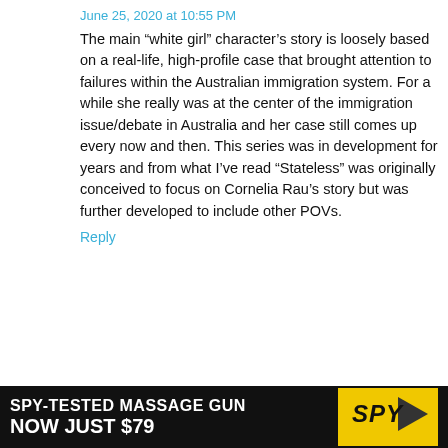June 25, 2020 at 10:55 PM
The main “white girl” character’s story is loosely based on a real-life, high-profile case that brought attention to failures within the Australian immigration system. For a while she really was at the center of the immigration issue/debate in Australia and her case still comes up every now and then. This series was in development for years and from what I’ve read “Stateless” was originally conceived to focus on Cornelia Rau’s story but was further developed to include other POVs.
Reply
Mike says:
June 24, 2020 at 10:38 AM
[Figure (other): Advertisement banner: SPY-TESTED MASSAGE GUN NOW JUST $79 with SPY logo on yellow background]